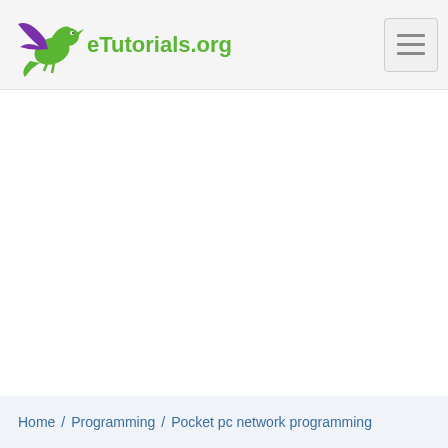eTutorials.org
Home / Programming / Pocket pc network programming